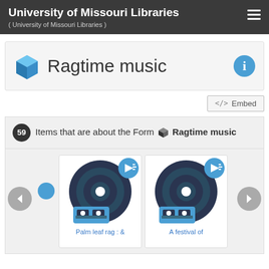University of Missouri Libraries ( University of Missouri Libraries )
Ragtime music
</>  Embed
59 Items that are about the Form  Ragtime music
[Figure (screenshot): Gallery of audio record items with vinyl record icons and audio badges. Two visible items: 'Palm leaf rag : &' and 'A festival of'. Previous and next navigation arrows on sides.]